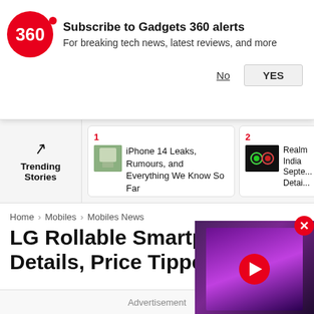[Figure (infographic): Gadgets 360 notification subscription banner with red circular logo showing '360', bold text 'Subscribe to Gadgets 360 alerts', subtitle 'For breaking tech news, latest reviews, and more', and No/YES buttons]
[Figure (infographic): Trending Stories section with trending arrow icon, item 1: iPhone 14 Leaks, Rumours, and Everything We Know So Far with a placeholder image thumbnail, item 2 partially visible showing Realme India September Details]
Home > Mobiles > Mobiles News
LG Rollable Smartph... Details, Price Tipped
LG Rollable is tipped to cost an exorbi... Rs. 1,73,400).
[Figure (screenshot): Video thumbnail showing a TV displaying a purple galaxy/spiral nebula image, with a red circular play button overlay in the center]
Advertisement